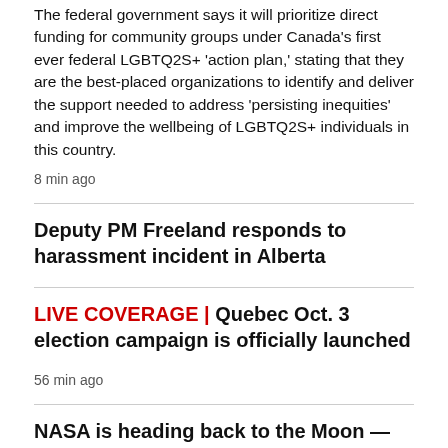The federal government says it will prioritize direct funding for community groups under Canada's first ever federal LGBTQ2S+ 'action plan,' stating that they are the best-placed organizations to identify and deliver the support needed to address 'persisting inequities' and improve the wellbeing of LGBTQ2S+ individuals in this country.
8 min ago
Deputy PM Freeland responds to harassment incident in Alberta
LIVE COVERAGE | Quebec Oct. 3 election campaign is officially launched
56 min ago
NASA is heading back to the Moon — and Canada's coming, too